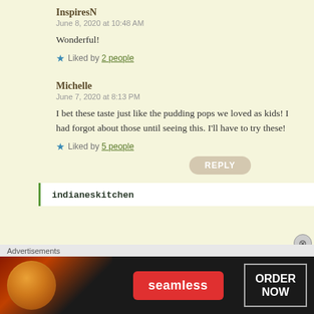InspiresN
June 8, 2020 at 10:48 AM
Wonderful!
★ Liked by 2 people
Michelle
June 7, 2020 at 8:13 PM
I bet these taste just like the pudding pops we loved as kids! I had forgot about those until seeing this. I'll have to try these!
★ Liked by 5 people
REPLY
indianeskitchen
Advertisements
[Figure (other): Seamless food delivery advertisement banner with pizza image, Seamless logo in red, and ORDER NOW button]